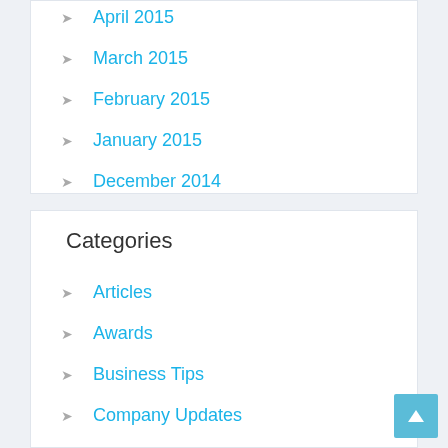April 2015
March 2015
February 2015
January 2015
December 2014
September 2014
Categories
Articles
Awards
Business Tips
Company Updates
Finance
Media
News